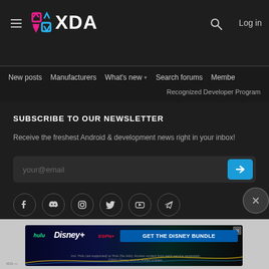XDA — Navigation header with hamburger menu, XDA logo, search icon, Log in button
New posts  Manufacturers  What's new ▾  Search forums  Membe  >
Recognized Developer Program
SUBSCRIBE TO OUR NEWSLETTER
Receive the freshest Android & development news right in your inbox!
your@email
[Figure (screenshot): Social media icons row: Facebook, Discord, Instagram, Twitter, YouTube, Telegram — circular bordered icons on dark background]
[Figure (infographic): Disney Bundle advertisement banner: hulu, Disney+, ESPN+ logos with GET THE DISNEY BUNDLE call to action button. Incl. Hulu (ad-supported) or Hulu (No Ads). Access content from each service separately. ©2021 Disney and its related entities.]